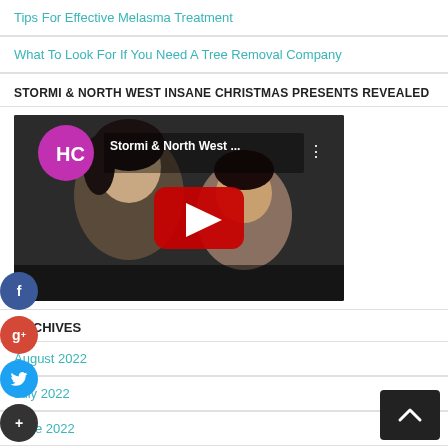Tips For Effective Melasma Treatment
What To Look For If You Need A Tree Removal Company
STORMI & NORTH WEST INSANE CHRISTMAS PRESENTS REVEALED
[Figure (screenshot): YouTube video thumbnail showing two people - a woman and a child. The video is titled 'Stormi & North West ...' with an HL (Hollywood Life) channel logo in the top-left and a YouTube play button in the center.]
ARCHIVES
August 2022
July 2022
June 2022